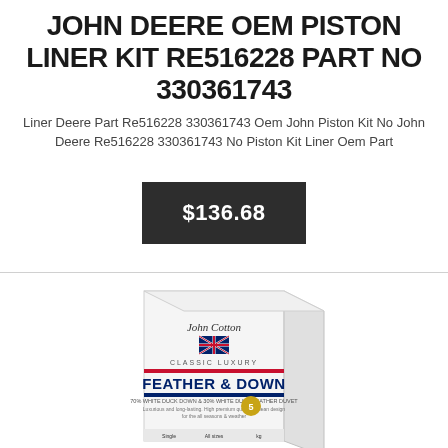JOHN DEERE OEM PISTON LINER KIT RE516228 PART NO 330361743
Liner Deere Part Re516228 330361743 Oem John Piston Kit No John Deere Re516228 330361743 No Piston Kit Liner Oem Part
$136.68
[Figure (photo): Product box for John Cotton Classic Luxury Feather & Down duvet/pillow. White box with blue and red stripe, UK flag logo, showing product specifications.]